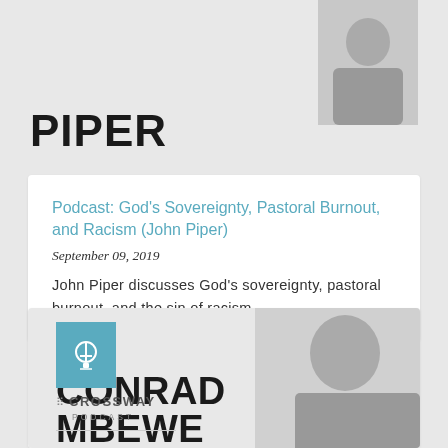[Figure (photo): Partial view of John Piper text/name card with photo in upper portion of page]
Podcast: God's Sovereignty, Pastoral Burnout, and Racism (John Piper)
September 09, 2019
John Piper discusses God's sovereignty, pastoral burnout, and the sin of racism.
[Figure (photo): Crossway Podcast card with Conrad Mbewe name and photo, partially visible]